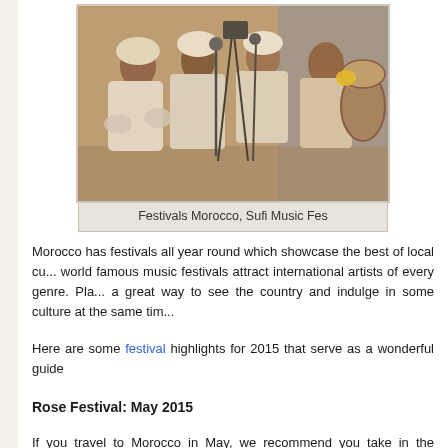[Figure (photo): Group of musicians in traditional white robes performing at what appears to be a Sufi music festival in Morocco, with microphones and percussion instruments visible]
Festivals Morocco, Sufi Music Fes
Morocco has festivals all year round which showcase the best of local cu... world famous music festivals attract international artists of every genre. Pla... a great way to see the country and indulge in some culture at the same tim...
Here are some festival highlights for 2015 that serve as a wonderful guide
Rose Festival: May 2015
If you travel to Morocco in May, we recommend you take in the Rose... spectacular Dades Valley, the so-called Valley of Roses is world famous f... 1930s by the French. Today, every rose derivative imaginable for cosmetic... valley. The festival celebrates the sweetly perfumed harvest as well as loca... day festival, a Rose Queen is elected and features in a cavalcade of flo... could also take in kayaking on the rivers full of snowmelt, a night in an and... a trip into the Sahara Desert.